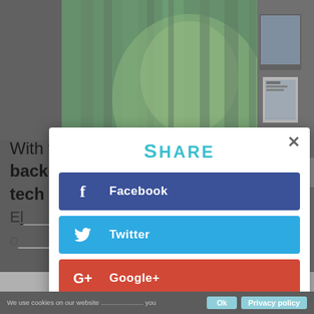[Figure (photo): Green screen/green curtain backdrop in a room, with some equipment visible on the right side]
With the green screen and virtual backgrounds, I can be in my LA high tech office...
SHARE
Facebook
Twitter
Google+
LinkedIn
We use cookies... OK   Privacy policy